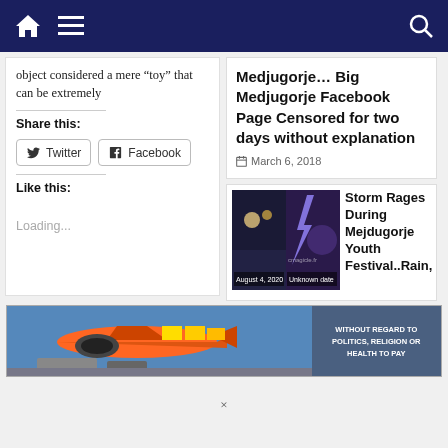Navigation bar with home, menu, and search icons
object considered a mere “toy” that can be extremely
Share this:
Twitter
Facebook
Like this:
Loading...
Medjugorje… Big Medjugorje Facebook Page Censored for two days without explanation
March 6, 2018
[Figure (photo): Storm image split into two frames labeled August 4, 2020 and Unknown date]
Storm Rages During Mejdugorje Youth Festival..Rain,
[Figure (photo): Advertisement banner showing cargo plane being loaded, with text WITHOUT REGARD TO POLITICS, RELIGION OR HEALTH TO PAY]